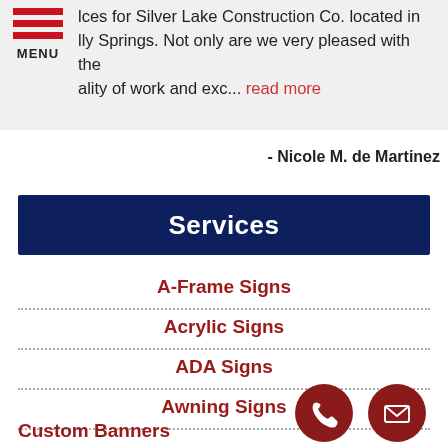...lces for Silver Lake Construction Co. located in Holly Springs. Not only are we very pleased with the quality of work and exc... read more
- Nicole M. de Martinez
Services
A-Frame Signs
Acrylic Signs
ADA Signs
Awning Signs
Custom Banners